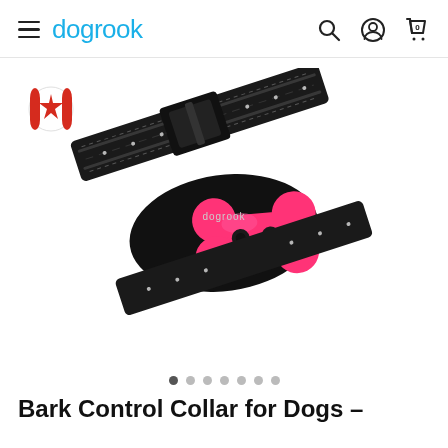dogrook
[Figure (photo): Dogrook bark control collar for dogs — a black nylon adjustable collar with a pink bone-shaped device/module attached, branded 'dogrook'. A Canadian flag icon appears in the upper left of the image area.]
Image carousel navigation dots (7 dots, first active)
Bark Control Collar for Dogs –